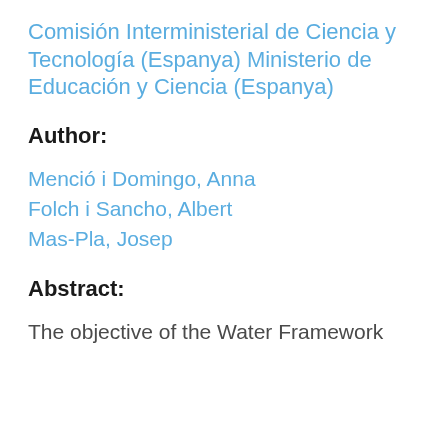Comisión Interministerial de Ciencia y Tecnología (Espanya)
Ministerio de Educación y Ciencia (Espanya)
Author:
Menció i Domingo, Anna
Folch i Sancho, Albert
Mas-Pla, Josep
Abstract:
The objective of the Water Framework